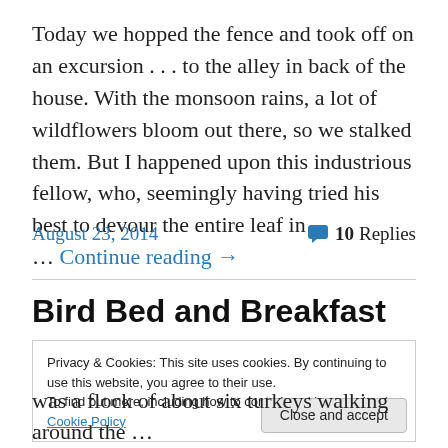Today we hopped the fence and took off on an excursion . . . to the alley in back of the house. With the monsoon rains, a lot of wildflowers bloom out there, so we stalked them. But I happened upon this industrious fellow, who, seemingly having tried his best to devour the entire leaf in … Continue reading →
August 23, 2014
10 Replies
Bird Bed and Breakfast
Privacy & Cookies: This site uses cookies. By continuing to use this website, you agree to their use.
To find out more, including how to control cookies, see here: Cookie Policy
Close and accept
was a flock of about six turkeys walking around the …